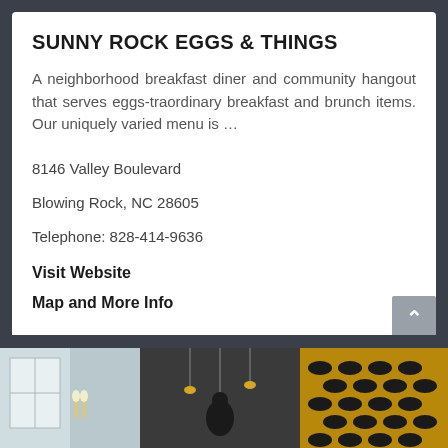SUNNY ROCK EGGS & THINGS
A neighborhood breakfast diner and community hangout that serves eggs-traordinary breakfast and brunch items. Our uniquely varied menu is …
8146 Valley Boulevard
Blowing Rock, NC 28605
Telephone: 828-414-9636
Visit Website
Map and More Info
[Figure (logo): Blowing Rock Chamber of Commerce 2022 Member badge with circular logo]
[Figure (photo): Interior restaurant photo showing dining area with hanging lights and decorative wall panel]